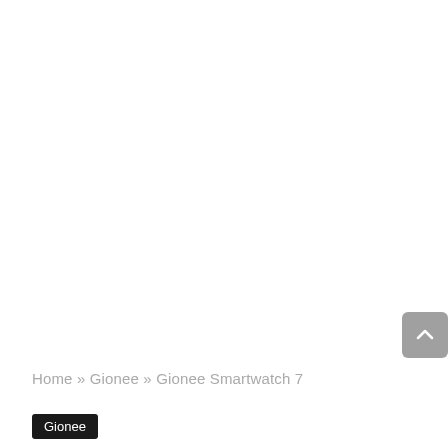[Figure (other): Scroll-to-top button arrow icon, gray rounded rectangle]
Home » Gionee » Gionee Smartwatch 7
Gionee